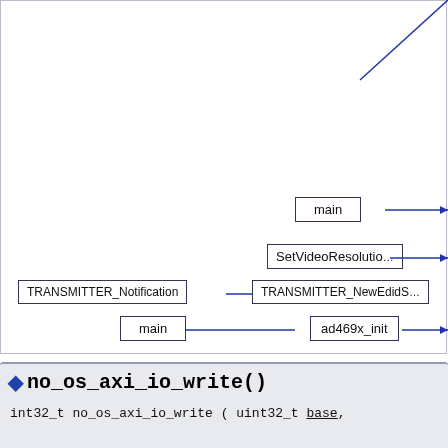[Figure (flowchart): Call graph / flowchart showing nodes: main, SetVideoResolutio(n), TRANSMITTER_Notification, TRANSMITTER_NewEdidS(...), main, ad469x_init. Arrows connect TRANSMITTER_Notification -> TRANSMITTER_NewEdidS and main -> ad469x_init. Diagonal lines extend off the right edge from main and SetVideoResolutio boxes. A large diagonal line exits top-right corner.]
◆ no_os_axi_io_write()
int32_t no_os_axi_io_write ( uint32_t base,